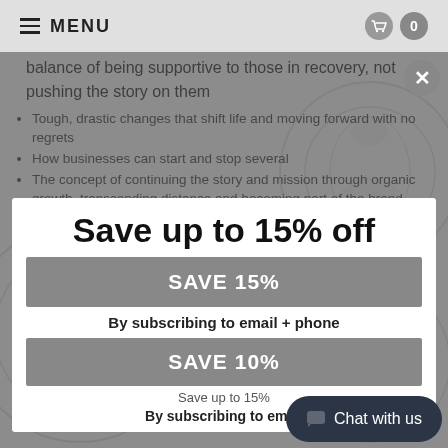MENU  0
balance of being supportive to those in recovery, not pushing the story on them
Tough, drastic changes that shift life and moving forward with no regrets
How businesses can start and stop several
The concept of continuing the story and mission through organic growth, transcending distance and becoming part of the brand
How shared company tried to steal their property
Growth costs!
Being grateful in the moment
Save up to 15% off
SAVE 15%
By subscribing to email + phone
SAVE 10%
Save up to 15%
By subscribing to email
Chat with us